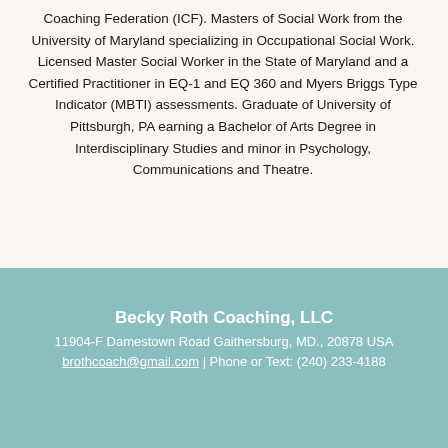Coaching Federation (ICF). Masters of Social Work from the University of Maryland specializing in Occupational Social Work. Licensed Master Social Worker in the State of Maryland and a Certified Practitioner in EQ-1 and EQ 360 and Myers Briggs Type Indicator (MBTI) assessments. Graduate of University of Pittsburgh, PA earning a Bachelor of Arts Degree in Interdisciplinary Studies and minor in Psychology, Communications and Theatre.
Becky Roth Coaching, LLC
11904-F Damestown Road Gaithersburg, MD., 20878 USA
brothcoach@gmail.com | Phone or Text: (240) 233-4188